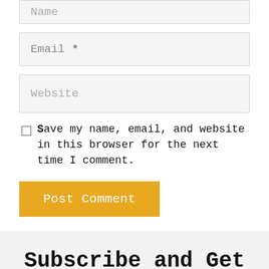Name
Email *
Website
Save my name, email, and website in this browser for the next time I comment.
Post Comment
Subscribe and Get the 7 Day Unleash Your